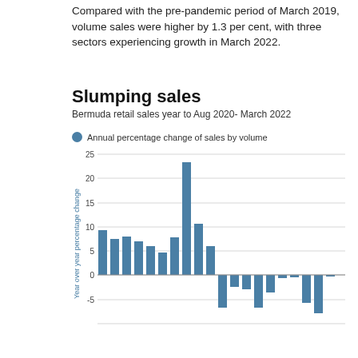Compared with the pre-pandemic period of March 2019, volume sales were higher by 1.3 per cent, with three sectors experiencing growth in March 2022.
Slumping sales
Bermuda retail sales year to Aug 2020- March 2022
[Figure (bar-chart): Annual percentage change of sales by volume]